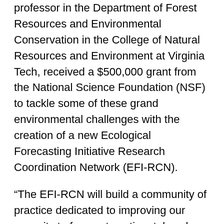professor in the Department of Forest Resources and Environmental Conservation in the College of Natural Resources and Environment at Virginia Tech, received a $500,000 grant from the National Science Foundation (NSF) to tackle some of these grand environmental challenges with the creation of a new Ecological Forecasting Initiative Research Coordination Network (EFI-RCN).
“The EFI-RCN will build a community of practice dedicated to improving our capacity to forecast continental-scale environmental changes using data from the National Ecological Observatory Network, or NEON, which is a research effort that standardizes data collection across 81 sites that span the diverse ecosystems of the entire U.S.,” said Thomas, who is an affiliated faculty member of the Global Change Center, an arm of the Fralin Life Sciences Institute at Virginia Tech.